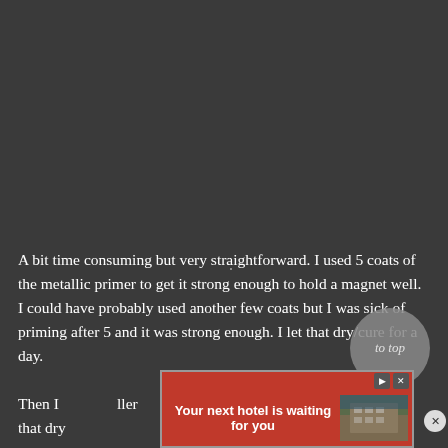[Figure (photo): Dark grey background occupying the upper portion of the page, with a faint light speck near the center.]
A bit time consuming but very straightforward. I used 5 coats of the metallic primer to get it strong enough to hold a magnet well. I could have probably used another few coats but I was sick of priming after 5 and it was strong enough. I let that dry/cure for a day.
Then I [partially obscured by ad banner] ler that dry [partially obscured]
[Figure (screenshot): Advertisement banner: red background with text 'Your next hotel is waiting for you', play and close icons at top right, and a photo of a hotel/building at the right side. A circular close button appears at far right.]